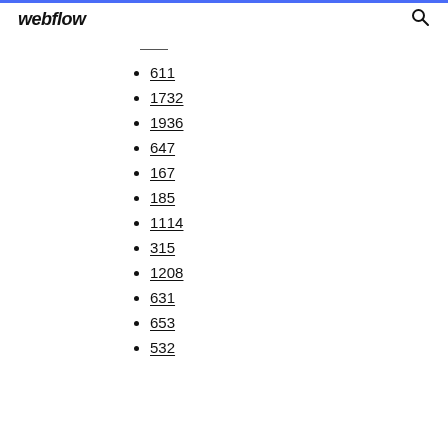webflow
611
1732
1936
647
167
185
1114
315
1208
631
653
532